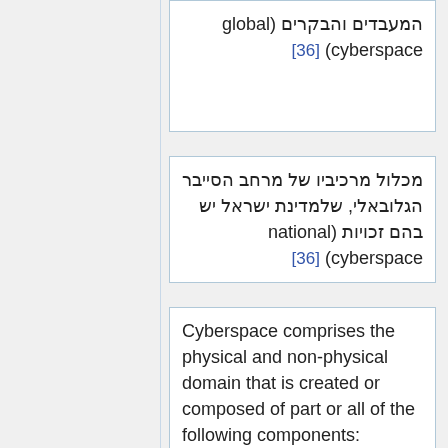המעבדים והבקרים (global cyberspace) [36]
מכלול מרכיביו של מרחב הסייבר הגלובאלי, שלמדינת ישראל יש בהם זכויות (national cyberspace) [36]
Cyberspace comprises the physical and non-physical domain that is created or composed of part or all of the following components: mechanized and computerized systems, computer and communications networks, and